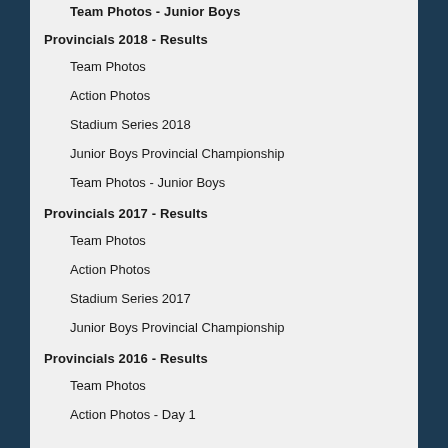Team Photos - Junior Boys
Provincials 2018 - Results
Team Photos
Action Photos
Stadium Series 2018
Junior Boys Provincial Championship
Team Photos - Junior Boys
Provincials 2017 - Results
Team Photos
Action Photos
Stadium Series 2017
Junior Boys Provincial Championship
Provincials 2016 - Results
Team Photos
Action Photos - Day 1